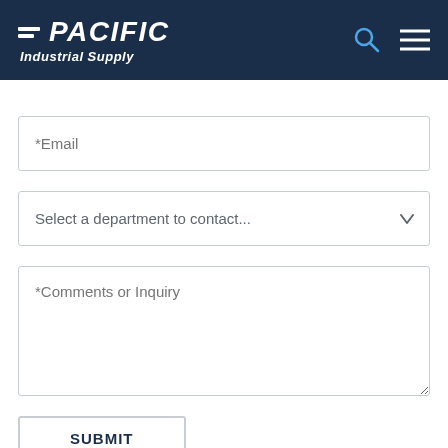PACIFIC Industrial Supply
*Email
Select a department to contact...
*Comments or Inquiry
SUBMIT